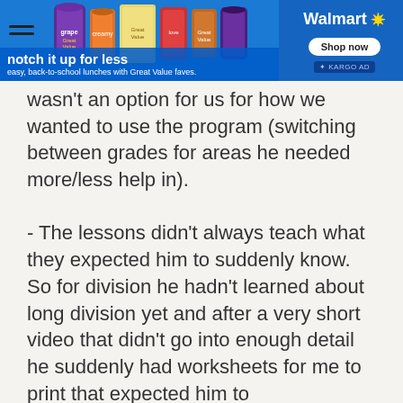[Figure (other): Walmart advertisement banner showing food products with text 'notch it up for less' and 'easy, back-to-school lunches with Great Value faves.' with Shop now button]
wasn't an option for us for how we wanted to use the program (switching between grades for areas he needed more/less help in).
- The lessons didn't always teach what they expected him to suddenly know. So for division he hadn't learned about long division yet and after a very short video that didn't go into enough detail he suddenly had worksheets for me to print that expected him to